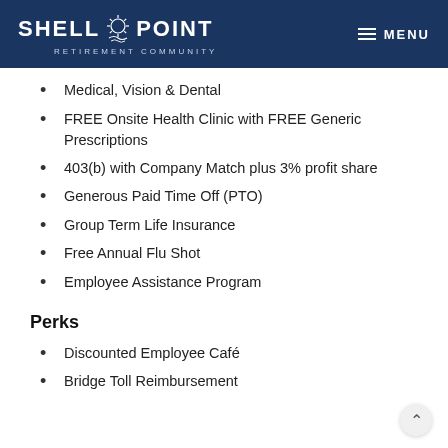SHELL POINT RETIREMENT COMMUNITY | MENU
Medical, Vision & Dental
FREE Onsite Health Clinic with FREE Generic Prescriptions
403(b) with Company Match plus 3% profit share
Generous Paid Time Off (PTO)
Group Term Life Insurance
Free Annual Flu Shot
Employee Assistance Program
Perks
Discounted Employee Café
Bridge Toll Reimbursement